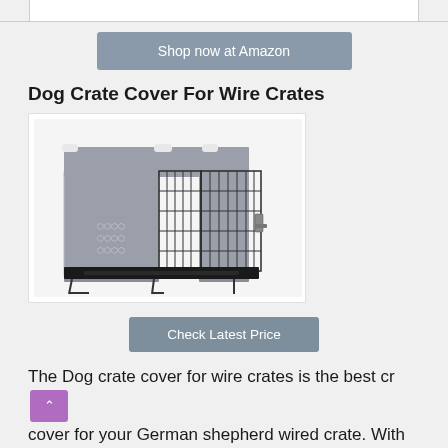[Figure (other): Top bar / page header border element]
[Figure (other): Shop now at Amazon button (grey rounded rectangle)]
Dog Crate Cover For Wire Crates
[Figure (photo): Photo of a wire dog crate with grey and white geometric pattern fabric cover, doors open, showing interior black tray]
[Figure (other): Check Latest Price button (grey rounded rectangle)]
The Dog crate cover for wire crates is the best cr cover for your German shepherd wired crate. With the